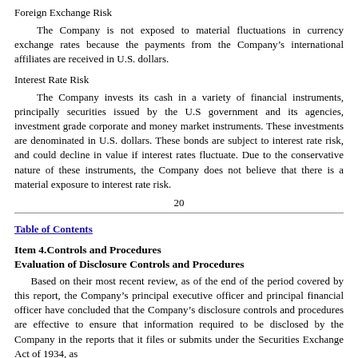Foreign Exchange Risk
The Company is not exposed to material fluctuations in currency exchange rates because the payments from the Company's international affiliates are received in U.S. dollars.
Interest Rate Risk
The Company invests its cash in a variety of financial instruments, principally securities issued by the U.S government and its agencies, investment grade corporate and money market instruments. These investments are denominated in U.S. dollars. These bonds are subject to interest rate risk, and could decline in value if interest rates fluctuate. Due to the conservative nature of these instruments, the Company does not believe that there is a material exposure to interest rate risk.
20
Table of Contents
Item 4.Controls and Procedures
Evaluation of Disclosure Controls and Procedures
Based on their most recent review, as of the end of the period covered by this report, the Company's principal executive officer and principal financial officer have concluded that the Company's disclosure controls and procedures are effective to ensure that information required to be disclosed by the Company in the reports that it files or submits under the Securities Exchange Act of 1934, as